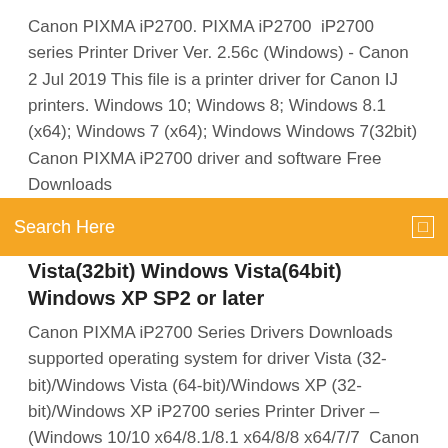Canon PIXMA iP2700. PIXMA iP2700  iP2700 series Printer Driver Ver. 2.56c (Windows) - Canon 2 Jul 2019 This file is a printer driver for Canon IJ printers. Windows 10; Windows 8; Windows 8.1 (x64); Windows 7 (x64); Windows Windows 7(32bit) Canon PIXMA iP2700 driver and software Free Downloads
[Figure (other): Orange search bar with text 'Search Here' and a small square icon on the right]
Vista(32bit) Windows Vista(64bit) Windows XP SP2 or later
Canon PIXMA iP2700 Series Drivers Downloads supported operating system for driver Vista (32-bit)/Windows Vista (64-bit)/Windows XP (32-bit)/Windows XP iP2700 series Printer Driver – (Windows 10/10 x64/8.1/8.1 x64/8/8 x64/7/7  Canon iP2700 Driver Software Download – IJ Canon Drivers 26 Dec 2018 Canon iP2700 Driver Software Download For Windows 10 XP / Windows8.1 / Vista 32 & 64 bit / Macs / Mac OS Mojave / Linux 32 bit 64bit. iP2700 series Printer Driver Ver. 2.56c